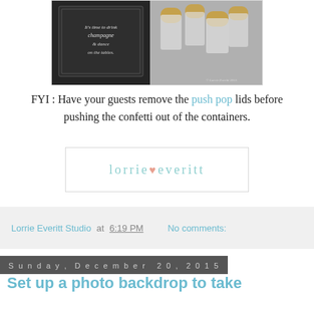[Figure (photo): Photo of decorative items including a chalkboard sign with cursive text 'It's time to drink champagne & dance on the tables' and small gold-rimmed containers/jars with a watermark '© Lorrie Everitt 2015']
FYI : Have your guests remove the push pop lids before pushing the confetti out of the containers.
[Figure (logo): Lorrie Everitt Studio logo in teal/mint text with a small coral heart: 'lorrie♥everitt']
Lorrie Everitt Studio at 6:19 PM   No comments:
Sunday, December 20, 2015
Set up a photo backdrop to take